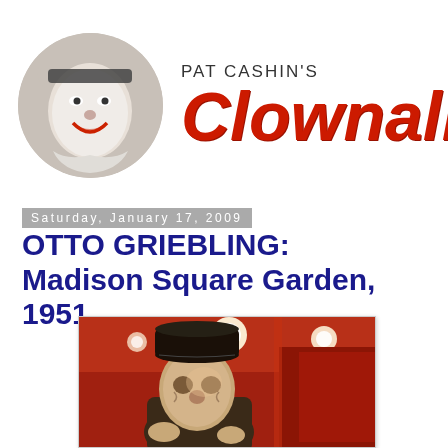[Figure (logo): Pat Cashin's Clown Alley logo with circular black-and-white photo of clown on left and red stylized 'Clownalley' text on right with 'PAT CASHIN'S' in gray above]
Saturday, January 17, 2009
OTTO GRIEBLING: Madison Square Garden, 1951
[Figure (photo): Color photograph of Otto Griebling, a clown, at Madison Square Garden in 1951, wearing a dark hat, with red and orange circus backdrop and lights visible in background]